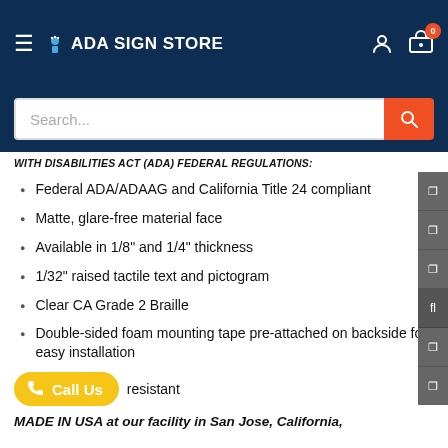ADA SIGN STORE
Search...
WITH DISABILITIES ACT (ADA) FEDERAL REGULATIONS:
Federal ADA/ADAAG and California Title 24 compliant
Matte, glare-free material face
Available in 1/8" and 1/4" thickness
1/32" raised tactile text and pictogram
Clear CA Grade 2 Braille
Double-sided foam mounting tape pre-attached on backside for easy installation
resistant
MADE IN USA at our facility in San Jose, California,